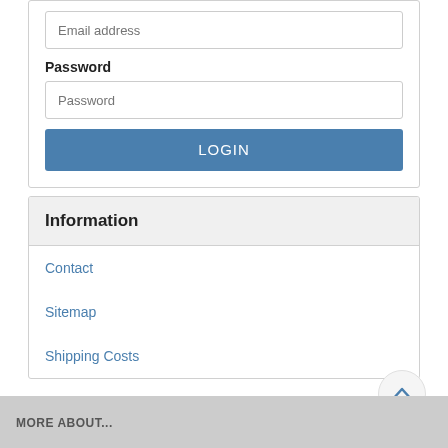Email address
Password
Password
LOGIN
Information
Contact
Sitemap
Shipping Costs
MORE ABOUT...